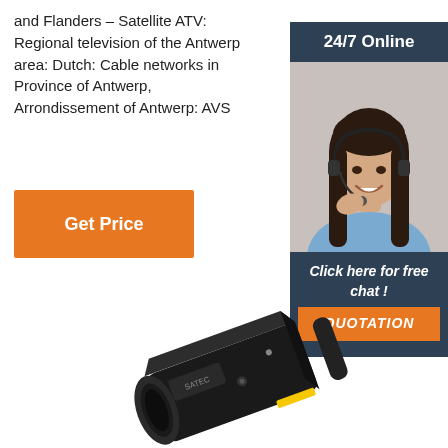and Flanders – Satellite ATV: Regional television of the Antwerp area: Dutch: Cable networks in Province of Antwerp, Arrondissement of Antwerp: AVS
[Figure (other): Orange 'Get Price' button]
[Figure (other): Sidebar widget with '24/7 Online' header, photo of woman with headset smiling, dark background with 'Click here for free chat!' text and orange QUOTATION button]
[Figure (photo): Photo of a black industrial electrical connector/plug device, angled view showing the body and round end]